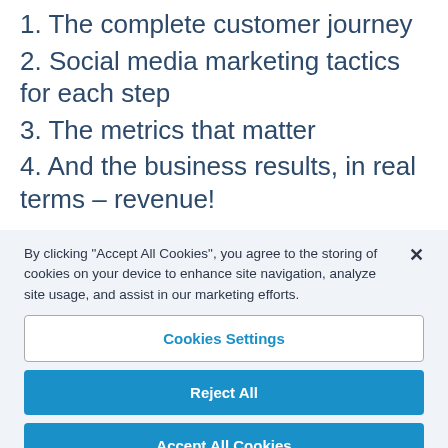1. The complete customer journey
2. Social media marketing tactics for each step
3. The metrics that matter
4. And the business results, in real terms – revenue!
By clicking "Accept All Cookies", you agree to the storing of cookies on your device to enhance site navigation, analyze site usage, and assist in our marketing efforts.
Cookies Settings
Reject All
Accept All Cookies